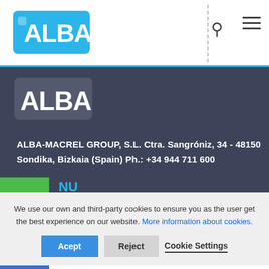[Figure (logo): ALBA company logo in blue on white background, header]
[Figure (logo): ALBA company logo in white on dark background]
ALBA-MACREL GROUP, S.L. Ctra. Sangróniz, 34 - 48150 Sondika, Bizkaia (Spain) Ph.: +34 944 711 600
NU
out us
Legal-notice
We use our own and third-party cookies to ensure you as the user get the best experience on our website. More information about cookies.